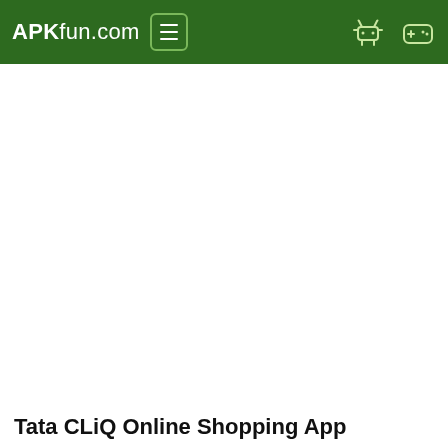APKfun.com
Tata CLiQ Online Shopping App